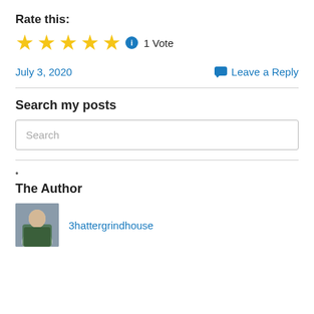Rate this:
★★★★★ ⓘ 1 Vote
July 3, 2020
Leave a Reply
Search my posts
Search
•
The Author
3hattergrindhouse